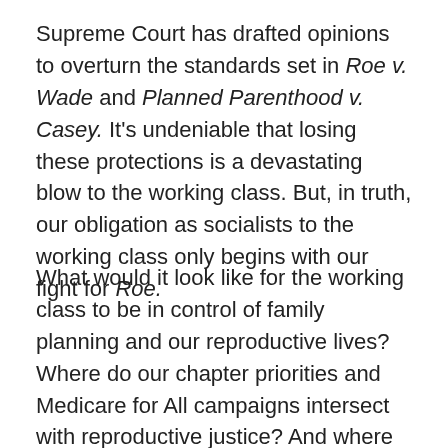Supreme Court has drafted opinions to overturn the standards set in Roe v. Wade and Planned Parenthood v. Casey. It’s undeniable that losing these protections is a devastating blow to the working class. But, in truth, our obligation as socialists to the working class only begins with our fight for Roe.
What would it look like for the working class to be in control of family planning and our reproductive lives? Where do our chapter priorities and Medicare for All campaigns intersect with reproductive justice? And where might socialists as a whole be falling short?